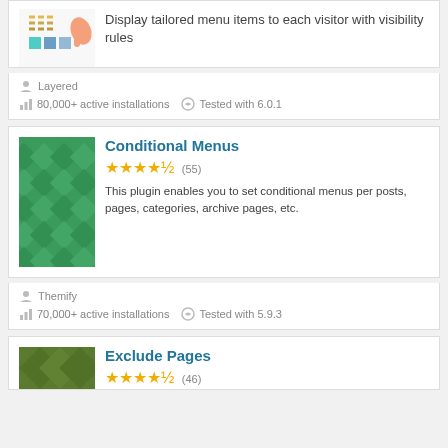[Figure (screenshot): Top card partial view showing plugin image (colorful menu/hand illustration) and description text: Display tailored menu items to each visitor with visibility rules]
Display tailored menu items to each visitor with visibility rules
Layered
80,000+ active installations  Tested with 6.0.1
[Figure (illustration): Green diamond pattern background image for Conditional Menus plugin]
Conditional Menus
★★★★½ (55)
This plugin enables you to set conditional menus per posts, pages, categories, archive pages, etc.
Themify
70,000+ active installations  Tested with 5.9.3
[Figure (illustration): Olive/dark green geometric pattern background image for Exclude Pages plugin]
Exclude Pages
★★★★½ (46)